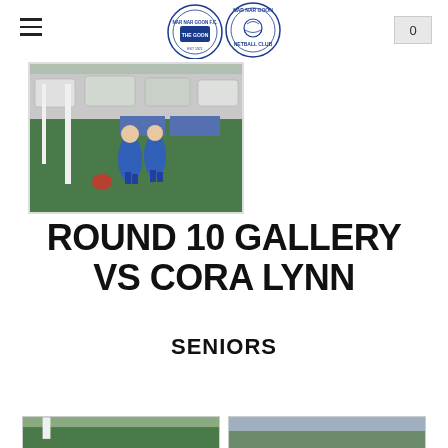Nar Nar Goon Football Netball Club website header
[Figure (photo): Two Australian rules football players in blue and white uniforms chasing the ball near the goal posts, with cars and a green field in the background]
ROUND 10 GALLERY VS CORA LYNN
SENIORS
[Figure (photo): Two thumbnail photos at the bottom of the page showing football action]